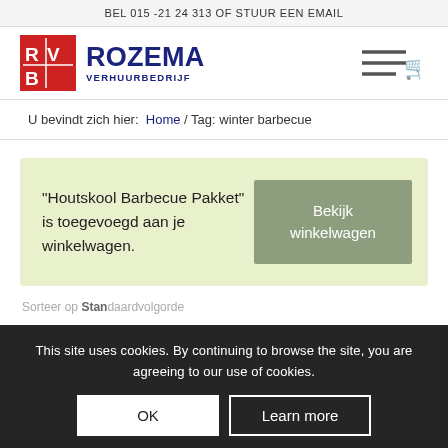BEL 015 -21 24 313 OF STUUR EEN EMAIL
[Figure (logo): Rozema Verhuurbedrijf logo with red RVB icon and dark blue text]
U bevindt zich hier:  Home / Tag: winter barbecue
“Houtskool Barbecue Pakket” is toegevoegd aan je winkelwagen.
Bekijk winkelwagen
Sorteer op Standaard volgorde
This site uses cookies. By continuing to browse the site, you are agreeing to our use of cookies.
OK
Learn more